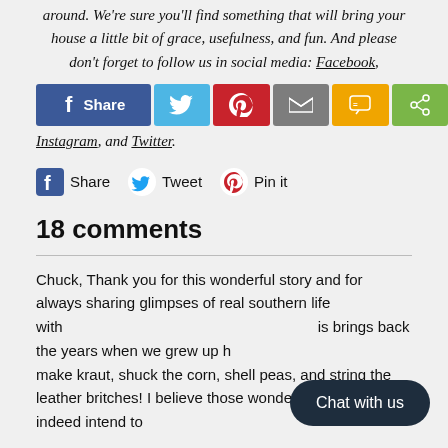around. We're sure you'll find something that will bring your house a little bit of grace, usefulness, and fun. And please don't forget to follow us in social media: Facebook,
[Figure (infographic): Social share buttons: Facebook (blue), Twitter (light blue), Pinterest (red), Email (grey), SMS (yellow/orange), ShareThis (green)]
Instagram, and Twitter.
[Figure (infographic): Social sharing icons row: Facebook Share, Twitter Tweet, Pinterest Pin it]
18 comments
Chuck, Thank you for this wonderful story and for always sharing glimpses of real southern life with... brings back the years when we grew up h... make kraut, shuck the corn, shell peas, and string the leather britches! I believe those wonderful women did indeed intend to